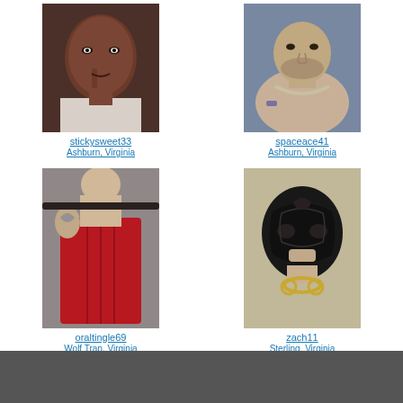[Figure (photo): Profile photo of stickysweet33 - person posing with finger near mouth]
stickysweet33
Ashburn, Virginia
[Figure (photo): Profile photo of spaceace41 - shirtless man with chain necklace]
spaceace41
Ashburn, Virginia
[Figure (photo): Profile photo of oraltingle69 - person in red latex corset with whip]
oraltingle69
Wolf Trap, Virginia
[Figure (photo): Profile photo of zach11 - person wearing black latex mask with chain]
zach11
Sterling, Virginia